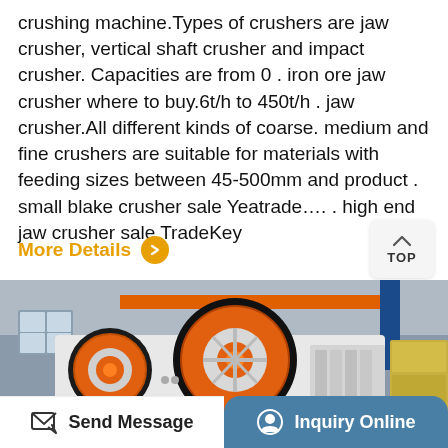crushing machine.Types of crushers are jaw crusher, vertical shaft crusher and impact crusher. Capacities are from 0 . iron ore jaw crusher where to buy.6t/h to 450t/h . jaw crusher.All different kinds of coarse. medium and fine crushers are suitable for materials with feeding sizes between 45-500mm and product . small blake crusher sale Yeatrade…. . high end jaw crusher sale TradeKey
More Details
[Figure (photo): Industrial jaw crusher machines with large orange and black flywheel pulleys in a factory setting]
Send Message
Inquiry Online